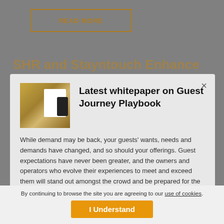[Figure (screenshot): READ MORE button with orange/gold border on grey background]
SHR and Stayntouch Enhance Their Cloud Integration Delivering True Policy and Control to Revenue Management
[Figure (screenshot): Modal popup with whitepaper thumbnail image showing documents and phone]
Latest whitepaper on Guest Journey Playbook
While demand may be back, your guests' wants, needs and demands have changed, and so should your offerings. Guest expectations have never been greater, and the owners and operators who evolve their experiences to meet and exceed them will stand out amongst the crowd and be prepared for the future.
HOUSTON – OCTOBER 27, 2021 — SHR and Stayntouch today announced an enhancement to its business relationship, Stayntouch PMS now
By continuing to browse the site you are agreeing to our use of cookies.
I Understand